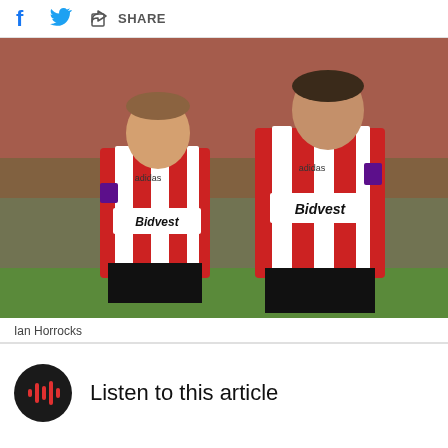Share
[Figure (photo): Two Sunderland AFC footballers wearing red and white striped Bidvest-sponsored jerseys walking on a pitch with a crowd in the background]
Ian Horrocks
Listen to this article